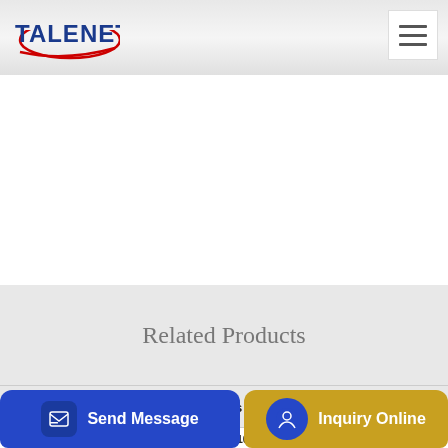[Figure (logo): Talenet company logo with red swoosh and blue text]
[Figure (other): Hamburger menu icon (three horizontal lines) in white box]
Related Products
Get Latest Mixer Truck Ideas for Your Smartphones
Second-Hand 12m3 Concrete Mixer Truck G10K-2 China Mobile
Send Message | Inquiry Online